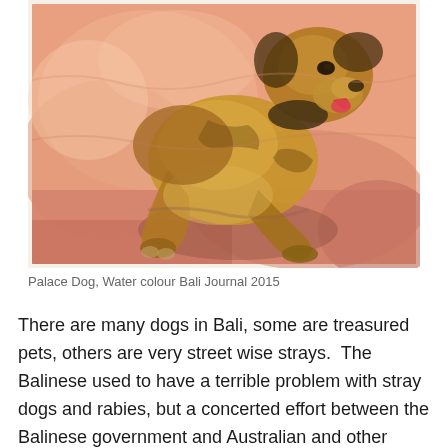[Figure (illustration): Watercolour painting of a dog (Palace Dog) sitting/lounging on a pink/salmon coloured surface, rendered in warm golden-brown and ochre tones against a pinkish-orange watercolour background wash.]
Palace Dog, Water colour Bali Journal 2015
There are many dogs in Bali, some are treasured pets, others are very street wise strays.  The Balinese used to have a terrible problem with stray dogs and rabies, but a concerted effort between the Balinese government and Australian and other international organisations helped to...